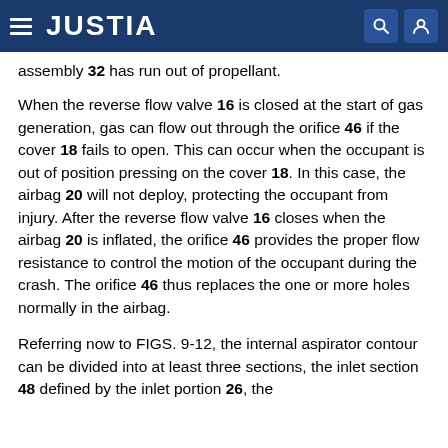JUSTIA
assembly 32 has run out of propellant.
When the reverse flow valve 16 is closed at the start of gas generation, gas can flow out through the orifice 46 if the cover 18 fails to open. This can occur when the occupant is out of position pressing on the cover 18. In this case, the airbag 20 will not deploy, protecting the occupant from injury. After the reverse flow valve 16 closes when the airbag 20 is inflated, the orifice 46 provides the proper flow resistance to control the motion of the occupant during the crash. The orifice 46 thus replaces the one or more holes normally in the airbag.
Referring now to FIGS. 9-12, the internal aspirator contour can be divided into at least three sections, the inlet section 48 defined by the inlet portion 26, the